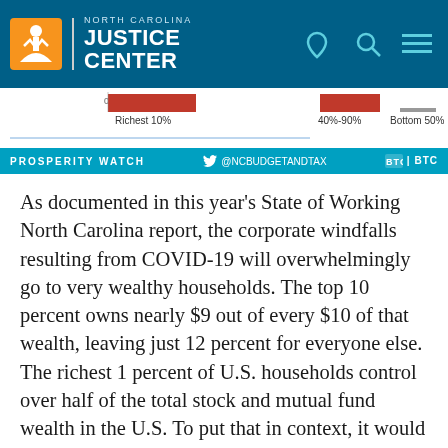NORTH CAROLINA JUSTICE CENTER
[Figure (other): Partial bar chart showing wealth distribution: 0%, Richest 10%, 40%-90%, Bottom 50%]
PROSPERITY WATCH  @NCBUDGETANDTAX  BTC
As documented in this year's State of Working North Carolina report, the corporate windfalls resulting from COVID-19 will overwhelmingly go to very wealthy households. The top 10 percent owns nearly $9 out of every $10 of that wealth, leaving just 12 percent for everyone else. The richest 1 percent of U.S. households control over half of the total stock and mutual fund wealth in the U.S. To put that in context, it would take nearly 3,600 households in the bottom 50 percent by net wealth to equal the stock and mutual fund holdings of just 1 household in the top 1